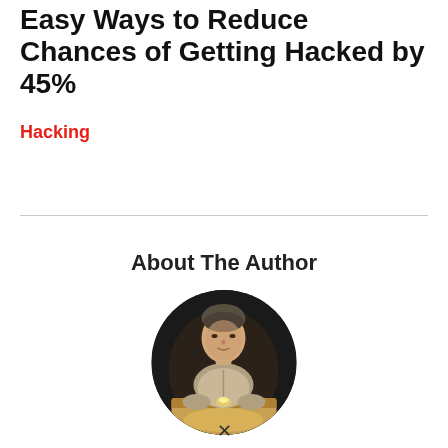Easy Ways to Reduce Chances of Getting Hacked by 45%
Hacking
About The Author
[Figure (photo): Circular profile photo of a man sitting at a table in a dimly lit setting, wearing a light-colored shirt.]